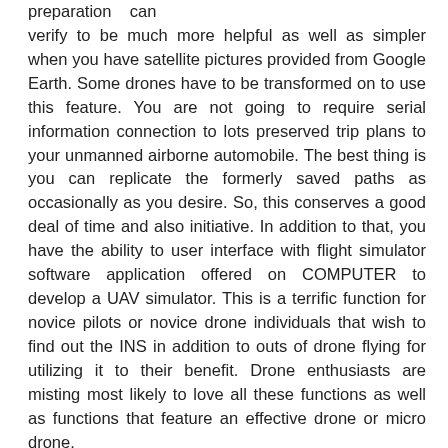preparation can verify to be much more helpful as well as simpler when you have satellite pictures provided from Google Earth. Some drones have to be transformed on to use this feature. You are not going to require serial information connection to lots preserved trip plans to your unmanned airborne automobile. The best thing is you can replicate the formerly saved paths as occasionally as you desire. So, this conserves a good deal of time and also initiative. In addition to that, you have the ability to user interface with flight simulator software application offered on COMPUTER to develop a UAV simulator. This is a terrific function for novice pilots or novice drone individuals that wish to find out the INS in addition to outs of drone flying for utilizing it to their benefit. Drone enthusiasts are misting most likely to love all these functions as well as functions that feature an effective drone or micro drone.
Kept in mind right here are numerous of the approaches wherein UAV software application aids in making unmanned